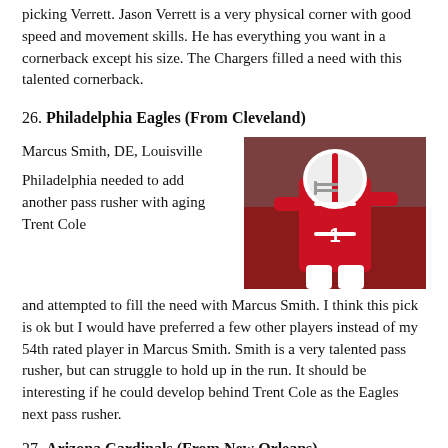picking Verrett. Jason Verrett is a very physical corner with good speed and movement skills. He has everything you want in a cornerback except his size. The Chargers filled a need with this talented cornerback.
26. Philadelphia Eagles (From Cleveland)
Marcus Smith, DE, Louisville
[Figure (photo): Football player in red and white Louisville uniform in action pose]
Philadelphia needed to add another pass rusher with aging Trent Cole and attempted to fill the need with Marcus Smith. I think this pick is ok but I would have preferred a few other players instead of my 54th rated player in Marcus Smith. Smith is a very talented pass rusher, but can struggle to hold up in the run. It should be interesting if he could develop behind Trent Cole as the Eagles next pass rusher.
27. Arizona Cardinals (From New Orleans)